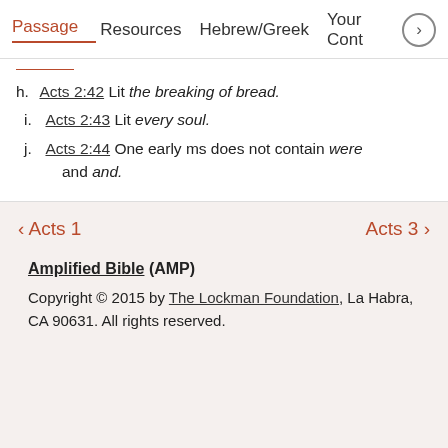Passage   Resources   Hebrew/Greek   Your Cont >
h. Acts 2:42 Lit the breaking of bread.
i. Acts 2:43 Lit every soul.
j. Acts 2:44 One early ms does not contain were and and.
< Acts 1    Acts 3 >
Amplified Bible (AMP)
Copyright © 2015 by The Lockman Foundation, La Habra, CA 90631. All rights reserved.